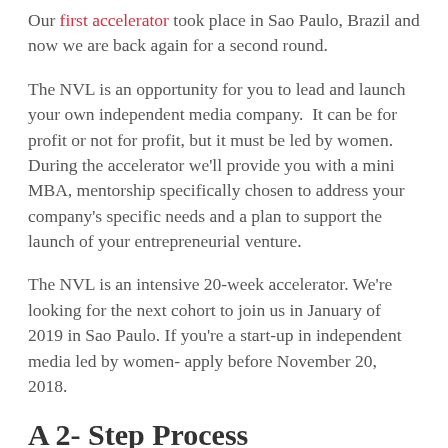Our first accelerator took place in Sao Paulo, Brazil and now we are back again for a second round.
The NVL is an opportunity for you to lead and launch your own independent media company.  It can be for profit or not for profit, but it must be led by women. During the accelerator we'll provide you with a mini MBA, mentorship specifically chosen to address your company's specific needs and a plan to support the launch of your entrepreneurial venture.
The NVL is an intensive 20-week accelerator. We're looking for the next cohort to join us in January of 2019 in Sao Paulo. If you're a start-up in independent media led by women- apply before November 20, 2018.
A 2- Step Process
Step 1